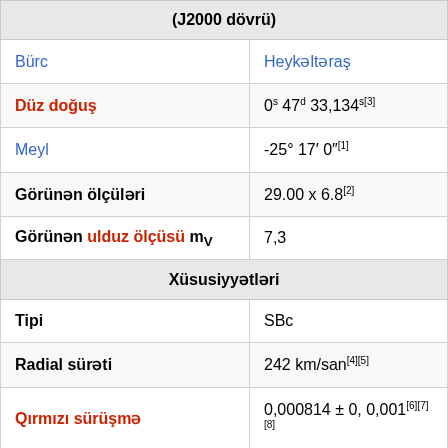| (J2000 dövrü) |  |
| --- | --- |
| Bürc | Heykəltəraş |
| Düz doğuş | 0s 47d 33,134s[3] |
| Meyl | -25° 17′ 0″[1] |
| Görünən ölçüləri | 29.00 x 6.8[2] |
| Görünən ulduz ölçüsü mV | 7,3 |
| Xüsusiyyətləri |  |
| Tipi | SBc |
| Radial sürəti | 242 km/san[4][5] |
| Qırmızı sürüşmə | 0,000814 ± 0, 0,001[6][7][8] |
| Məsafə | 3,7 Mpk[9] |
| Səth parlaqlığı | 12.7[2] |